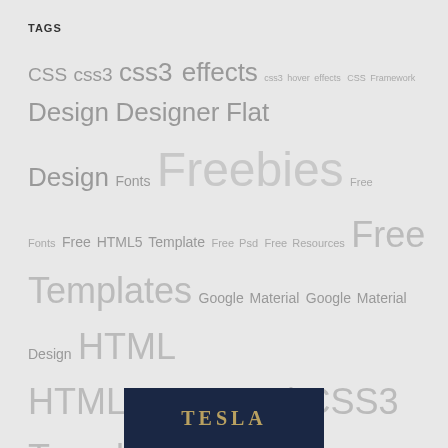TAGS
CSS css3 css3 effects css3 hover effects CSS Framework Design Designer Flat Design Fonts Freebies Free Fonts Free HTML5 Template Free Psd Free Resources Free Templates Google Material Google Material Design HTML HTML5 HTML5 / CSS3 Template HTML Framework HTML Template image hover effects Javascript jQuery jQuery Effects JQuery Plugin Material Material Bootstrap Material Concept Material Design Material Resources One Page Template Premium Templates responsive showcase SVG SVG Animations Template Themes Transition UI Kit Web Design wordpress wordpress themes
[Figure (other): Partial view of a Tesla themed card/banner with dark navy background and gold text reading TESLA]